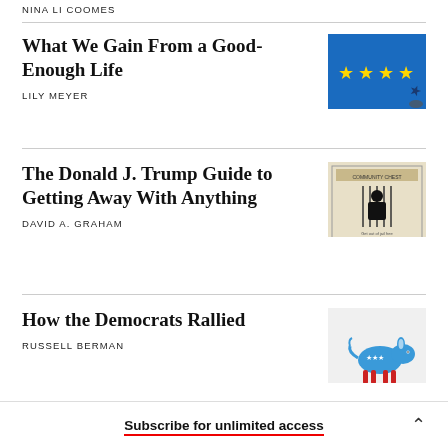NINA LI COOMES
What We Gain From a Good-Enough Life
LILY MEYER
[Figure (illustration): Blue background with yellow EU-style stars, one star appears to be falling away]
The Donald J. Trump Guide to Getting Away With Anything
DAVID A. GRAHAM
[Figure (illustration): Community Chest card styled illustration with a figure behind bars]
How the Democrats Rallied
RUSSELL BERMAN
[Figure (illustration): Democratic Party donkey mascot illustration in blue and red]
Subscribe for unlimited access